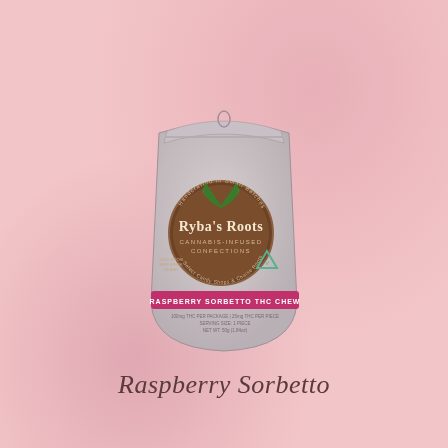[Figure (photo): A resealable mylar pouch of Ryba's Roots Cannabis-Infused Confections, Raspberry Sorbetto THC Chew. The pouch is light grey/silver with a brown circular logo featuring green cannabis leaves and the brand name. A pink banner reads 'Raspberry Sorbetto THC Chew'. There is a small green triangle certification symbol on the right side of the pouch.]
Raspberry Sorbetto